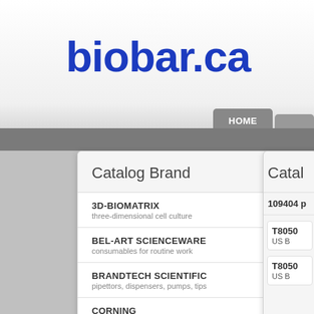[Figure (screenshot): biobar.ca website header with logo and HOME navigation button]
biobar.ca
Catalog Brand
3D-BIOMATRIX
three-dimensional cell culture
BEL-ART SCIENCEWARE
consumables for routine work
BRANDTECH SCIENTIFIC
pipettors, dispensers, pumps, tips
CORNING
glassware, equipments
Catal
109404 p
T8050
US B
T8050
US B